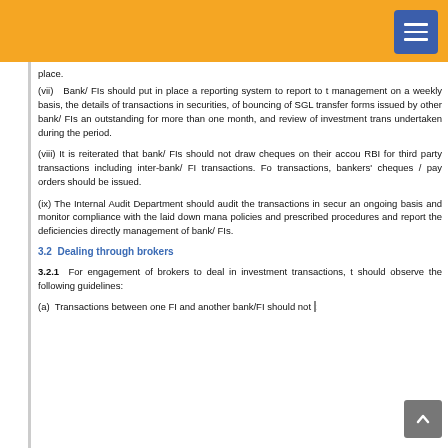place.
(vii) Bank/ FIs should put in place a reporting system to report to the management on a weekly basis, the details of transactions in securities, of bouncing of SGL transfer forms issued by other bank/ FIs and outstanding for more than one month, and review of investment transactions undertaken during the period.
(viii) It is reiterated that bank/ FIs should not draw cheques on their accounts with RBI for third party transactions including inter-bank/ FI transactions. For such transactions, bankers' cheques / pay orders should be issued.
(ix) The Internal Audit Department should audit the transactions in securities on an ongoing basis and monitor compliance with the laid down management policies and prescribed procedures and report the deficiencies directly to the management of bank/ FIs.
3.2  Dealing through brokers
3.2.1  For engagement of brokers to deal in investment transactions, the bank should observe the following guidelines:
(a)  Transactions between one FI and another bank/FI should not be put t